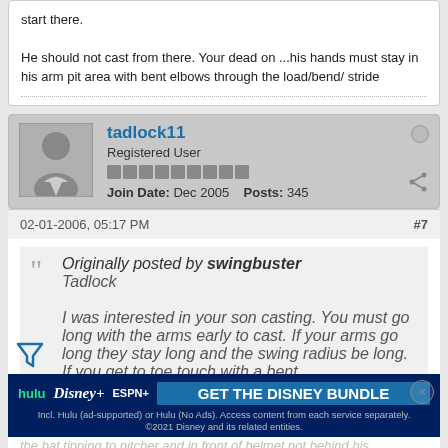start there.

He should not cast from there. Your dead on ...his hands must stay in his arm pit area with bent elbows through the load/bend/ stride
tadlock11
Registered User
Join Date: Dec 2005   Posts: 345
02-01-2006, 05:17 PM   #7
Originally posted by swingbuster
Tadlock

I was interested in your son casting. You must go long with the arms early to cast. If your arms go long they stay long and the swing radius be long. If you get to toe touch with a bent lead elbow and cocked hands you will have a short radius sw... Put your hands thumbs...up in the air with...the hand in...the bat tipping to pitcher and in front of helmet not behind his
[Figure (infographic): Disney Bundle advertisement banner: hulu Disney+ ESPN+ GET THE DISNEY BUNDLE. Incl. Hulu (ad-supported) or Hulu (No Ads). Access content from each service separately. ©2021 Disney and its related entities.]